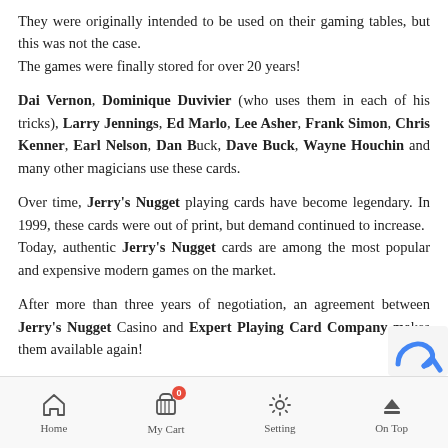They were originally intended to be used on their gaming tables, but this was not the case.
The games were finally stored for over 20 years!
Dai Vernon, Dominique Duvivier (who uses them in each of his tricks), Larry Jennings, Ed Marlo, Lee Asher, Frank Simon, Chris Kenner, Earl Nelson, Dan Buck, Dave Buck, Wayne Houchin and many other magicians use these cards.
Over time, Jerry's Nugget playing cards have become legendary. In 1999, these cards were out of print, but demand continued to increase.
Today, authentic Jerry's Nugget cards are among the most popular and expensive modern games on the market.
After more than three years of negotiation, an agreement between Jerry's Nugget Casino and Expert Playing Card Company makes them available again!
Home | My Cart | Setting | On Top